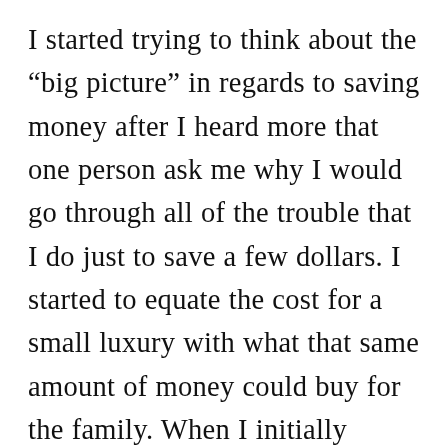I started trying to think about the “big picture” in regards to saving money after I heard more that one person ask me why I would go through all of the trouble that I do just to save a few dollars. I started to equate the cost for a small luxury with what that same amount of money could buy for the family. When I initially realized that my dollar a day spent for a large iced tea or soda over a weeks time could buy us 3 or 4 pounds of beans it was eye opening. It brings things into even